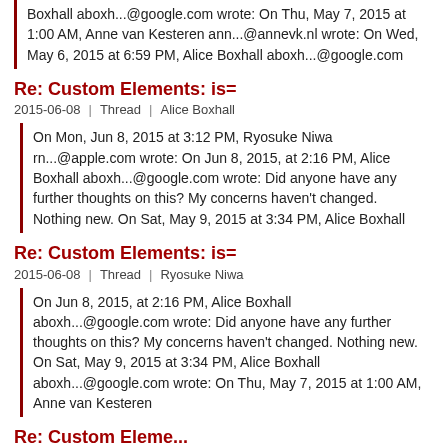Boxhall aboxh...@google.com wrote: On Thu, May 7, 2015 at 1:00 AM, Anne van Kesteren ann...@annevk.nl wrote: On Wed, May 6, 2015 at 6:59 PM, Alice Boxhall aboxh...@google.com
Re: Custom Elements: is=
2015-06-08 | Thread | Alice Boxhall
On Mon, Jun 8, 2015 at 3:12 PM, Ryosuke Niwa rn...@apple.com wrote: On Jun 8, 2015, at 2:16 PM, Alice Boxhall aboxh...@google.com wrote: Did anyone have any further thoughts on this? My concerns haven't changed. Nothing new. On Sat, May 9, 2015 at 3:34 PM, Alice Boxhall
Re: Custom Elements: is=
2015-06-08 | Thread | Ryosuke Niwa
On Jun 8, 2015, at 2:16 PM, Alice Boxhall aboxh...@google.com wrote: Did anyone have any further thoughts on this? My concerns haven't changed. Nothing new. On Sat, May 9, 2015 at 3:34 PM, Alice Boxhall aboxh...@google.com wrote: On Thu, May 7, 2015 at 1:00 AM, Anne van Kesteren
Re: Custom Eleme...